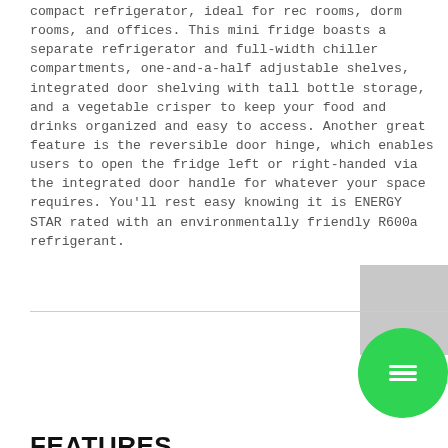compact refrigerator, ideal for rec rooms, dorm rooms, and offices. This mini fridge boasts a separate refrigerator and full-width chiller compartments, one-and-a-half adjustable shelves, integrated door shelving with tall bottle storage, and a vegetable crisper to keep your food and drinks organized and easy to access. Another great feature is the reversible door hinge, which enables users to open the fridge left or right-handed via the integrated door handle for whatever your space requires. You'll rest easy knowing it is ENERGY STAR rated with an environmentally friendly R600a refrigerant.
[Figure (other): Gray rectangular block UI element in the upper right, with a horizontal divider line and a green circle chat icon button overlapping in the lower right]
FEATURES
3.3 cu. ft. (94 L) capacity compact refrige...
ENERGY STAR compliant
Environmentally friendly R600a refrigerant